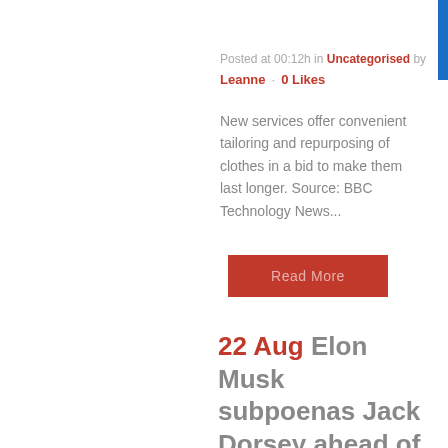Posted at 00:12h in Uncategorised by Leanne · 0 Likes
New services offer convenient tailoring and repurposing of clothes in a bid to make them last longer. Source: BBC Technology News...
Read More
22 Aug Elon Musk subpoenas Jack Dorsey ahead of Twitter court